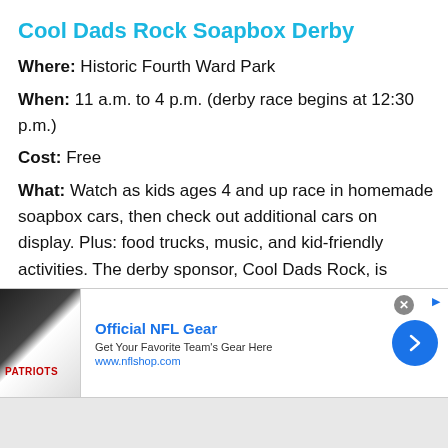Cool Dads Rock Soapbox Derby
Where: Historic Fourth Ward Park
When: 11 a.m. to 4 p.m. (derby race begins at 12:30 p.m.)
Cost: Free
What: Watch as kids ages 4 and up race in homemade soapbox cars, then check out additional cars on display. Plus: food trucks, music, and kid-friendly activities. The derby sponsor, Cool Dads Rock, is dedicated to helping dads and their kids build strong relationships.
[Figure (screenshot): Advertisement banner for Official NFL Gear from nflshop.com, showing NFL jerseys, with a blue circular next arrow button.]